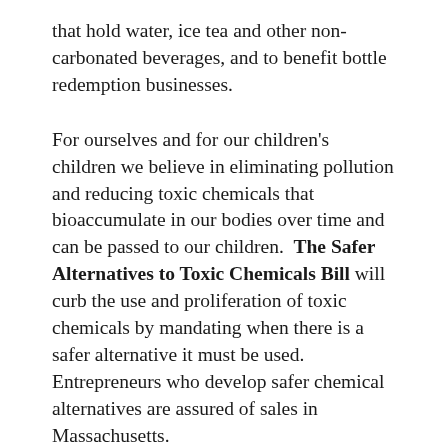that hold water, ice tea and other non-carbonated beverages, and to benefit bottle redemption businesses.
For ourselves and for our children's children we believe in eliminating pollution and reducing toxic chemicals that bioaccumulate in our bodies over time and can be passed to our children. The Safer Alternatives to Toxic Chemicals Bill will curb the use and proliferation of toxic chemicals by mandating when there is a safer alternative it must be used. Entrepreneurs who develop safer chemical alternatives are assured of sales in Massachusetts.
The Massachusetts League of Environmental Voters endorses candidates for State Senate and the House of Representatives who have worked together to advance environmental legislation in